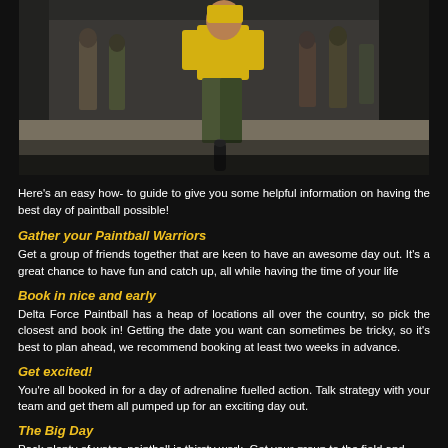[Figure (photo): Group of paintball players walking, led by a person in a yellow shirt and camouflage pants, black background, outdoor paintball venue]
Here's an easy how- to guide to give you some helpful information on having the best day of paintball possible!
Gather your Paintball Warriors
Get a group of friends together that are keen to have an awesome day out. It's a great chance to have fun and catch up, all while having the time of your life
Book in nice and early
Delta Force Paintball has a heap of locations all over the country, so pick the closest and book in! Getting the date you want can sometimes be tricky, so it's best to plan ahead, we recommend booking at least two weeks in advance.
Get excited!
You're all booked in for a day of adrenaline fuelled action. Talk strategy with your team and get them all pumped up for an exciting day out.
The Big Day
Pack plenty of water, paintball is thirsty work. Get your group to the field and